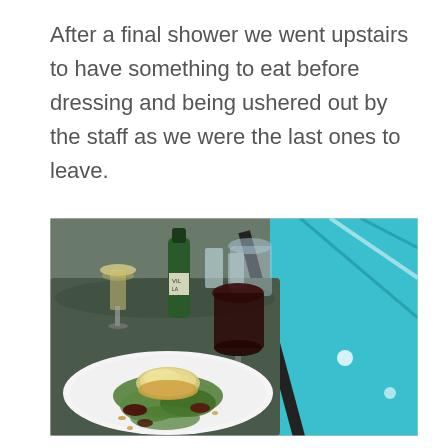After a final shower we went upstairs to have something to eat before dressing and being ushered out by the staff as we were the last ones to leave.
[Figure (photo): A restaurant table scene showing a white plate with a goat cheese salad (chèvre chaud) with green lettuce and pine nuts, a glass of red wine, a glass of white wine, a green wine bottle labeled 'VILLA', water glasses, and a swimming pool visible through the window in the background.]